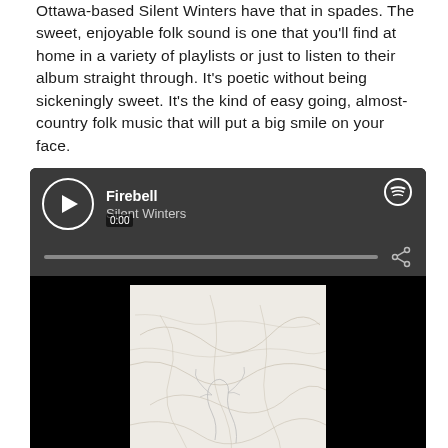Ottawa-based Silent Winters have that in spades. The sweet, enjoyable folk sound is one that you'll find at home in a variety of playlists or just to listen to their album straight through. It's poetic without being sickeningly sweet. It's the kind of easy going, almost-country folk music that will put a big smile on your face.
[Figure (screenshot): Spotify embedded player showing the track 'Firebell' by Silent Winters, with play button, time badge showing 0:00, progress bar, Spotify logo, share icon, and album art for 'The Duke Hotel' by Silent Winters.]